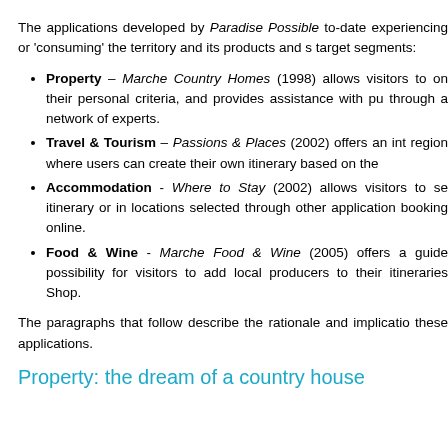The applications developed by Paradise Possible to-date experiencing or 'consuming' the territory and its products and s target segments:
Property – Marche Country Homes (1998) allows visitors to on their personal criteria, and provides assistance with pu through a network of experts.
Travel & Tourism – Passions & Places (2002) offers an int region where users can create their own itinerary based on the
Accommodation - Where to Stay (2002) allows visitors to se itinerary or in locations selected through other application booking online.
Food & Wine - Marche Food & Wine (2005) offers a guide possibility for visitors to add local producers to their itineraries Shop.
The paragraphs that follow describe the rationale and implicatio these applications.
Property: the dream of a country house